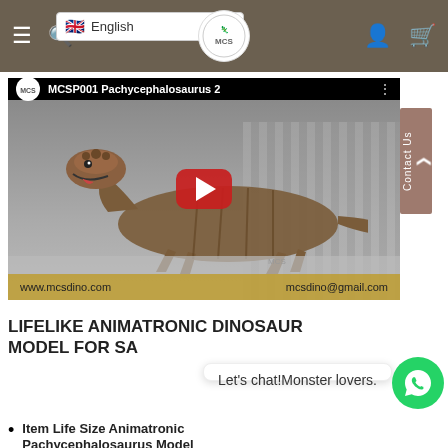Navigation bar with hamburger menu, search, MCS logo, language selector (English), user icon, cart icon
[Figure (screenshot): YouTube video thumbnail showing MCSP001 Pachycephalosaurus 2 animatronic dinosaur model with red play button. Footer shows www.mcsdino.com and mcsdino@gmail.com]
LIFELIKE ANIMATRONIC DINOSAUR MODEL FOR SA
Let's chat!Monster lovers.
Item  Life Size Animatronic Pachycephalosaurus Model